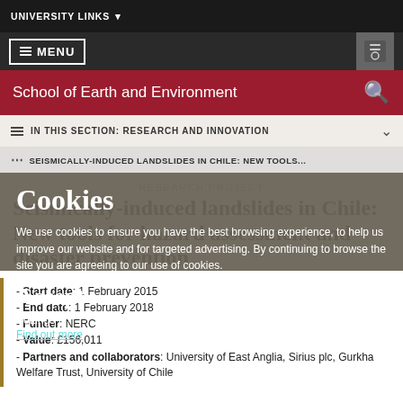UNIVERSITY LINKS
MENU
School of Earth and Environment
IN THIS SECTION: RESEARCH AND INNOVATION
SEISMICALLY-INDUCED LANDSLIDES IN CHILE: NEW TOOLS...
Cookies
We use cookies to ensure you have the best browsing experience, to help us improve our website and for targeted advertising. By continuing to browse the site you are agreeing to our use of cookies.
Accept
Settings
Find out more
RESEARCH PROJECT
Seismically-induced landslides in Chile: New tools for hazard assessment and disaster prevention
Start date: 1 February 2015
End date: 1 February 2018
Funder: NERC
Value: £156,011
Partners and collaborators: University of East Anglia, Sirius plc, Gurkha Welfare Trust, University of Chile